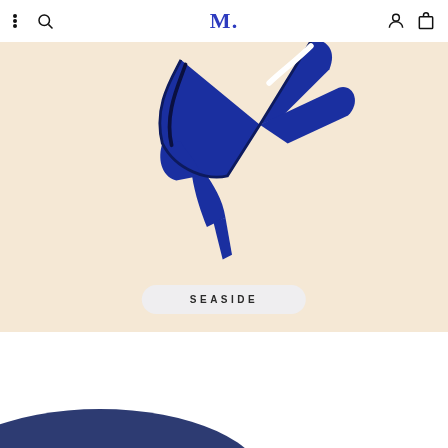M. (Maje) — navigation bar with menu, search, account, and bag icons
[Figure (photo): A blue decorative high-heel shoe object photographed on a peach/cream background, partially cropped at top. A rounded pill-shaped label reads 'SEASIDE' over the image.]
SEASIDE
[Figure (photo): Bottom portion of a second image showing a dark navy/blue curved shape — beginning of the next product photo below the fold.]